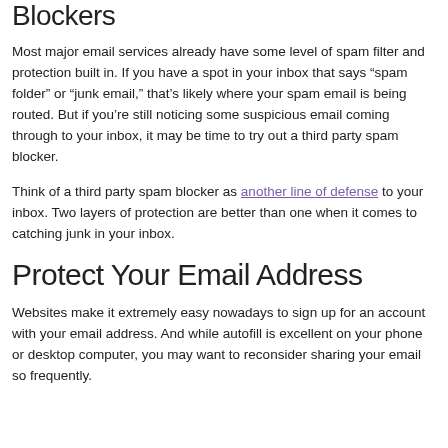Blockers
Most major email services already have some level of spam filter and protection built in. If you have a spot in your inbox that says “spam folder” or “junk email,” that’s likely where your spam email is being routed. But if you’re still noticing some suspicious email coming through to your inbox, it may be time to try out a third party spam blocker.
Think of a third party spam blocker as another line of defense to your inbox. Two layers of protection are better than one when it comes to catching junk in your inbox.
Protect Your Email Address
Websites make it extremely easy nowadays to sign up for an account with your email address. And while autofill is excellent on your phone or desktop computer, you may want to reconsider sharing your email so frequently.